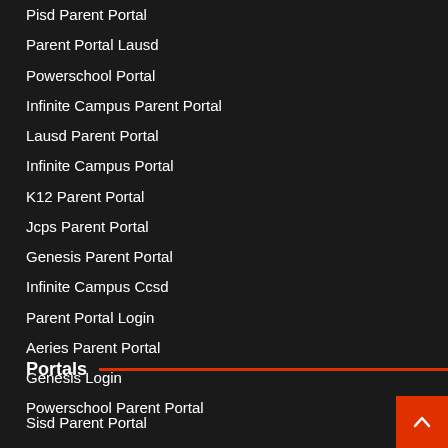Pisd Parent Portal
Parent Portal Lausd
Powerschool Portal
Infinite Campus Parent Portal
Lausd Parent Portal
Infinite Campus Portal
K12 Parent Portal
Jcps Parent Portal
Genesis Parent Portal
Infinite Campus Ccsd
Parent Portal Login
Aeries Parent Portal
Genesis Login
Powerschool Parent Portal
Portals
Sisd Parent Portal